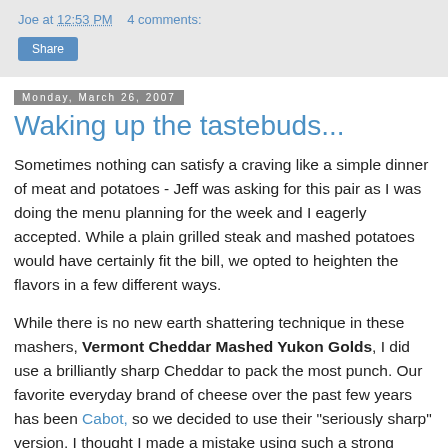Joe at 12:53 PM    4 comments:
Share
Monday, March 26, 2007
Waking up the tastebuds...
Sometimes nothing can satisfy a craving like a simple dinner of meat and potatoes - Jeff was asking for this pair as I was doing the menu planning for the week and I eagerly accepted. While a plain grilled steak and mashed potatoes would have certainly fit the bill, we opted to heighten the flavors in a few different ways.
While there is no new earth shattering technique in these mashers, Vermont Cheddar Mashed Yukon Golds, I did use a brilliantly sharp Cheddar to pack the most punch. Our favorite everyday brand of cheese over the past few years has been Cabot, so we decided to use their "seriously sharp" version. I thought I made a mistake using such a strong